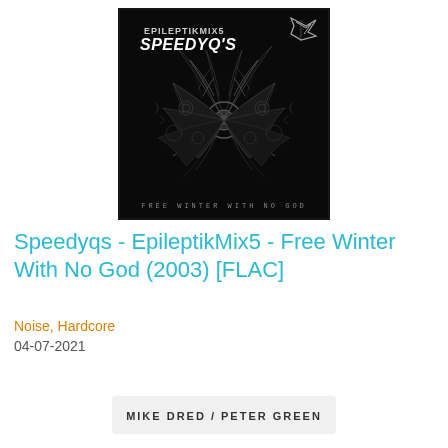[Figure (illustration): Album cover art for Speedyqs EpileptikMix5 - Free Winter With No God (2003). Black background with symmetric fractal/mechanical wing-like patterns in dark grey/silver tones. Text at top reads 'EPILEPTIKMIX5 SPEEDYQ'S' with a logo in the top right corner. Text at bottom reads 'FREE WINTER WITH NO GOD'.]
Speedyqs - EpileptikMix5 - Free Winter With No God (2003) [FLAC]
Noise, Hardcore
04-07-2021
MIKE DRED / PETER GREEN